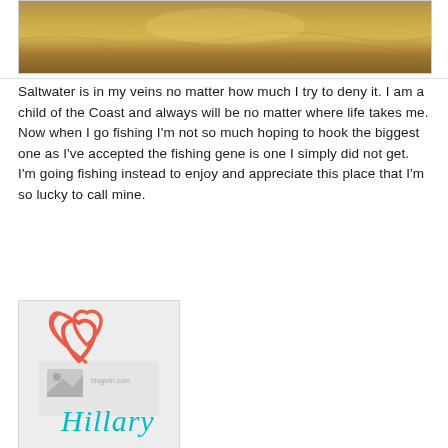[Figure (photo): Top portion of a water/ocean scene with golden light reflecting off the water surface]
Saltwater is in my veins no matter how much I try to deny it. I am a child of the Coast and always will be no matter where life takes me. Now when I go fishing I'm not so much hoping to hook the biggest one as I've accepted the fishing gene is one I simply did not get. I'm going fishing instead to enjoy and appreciate this place that I'm so lucky to call mine.
[Figure (logo): Blog signature logo with a coral/pink heart outline and the name 'Hillary' written in teal cursive script, on a light gray background]